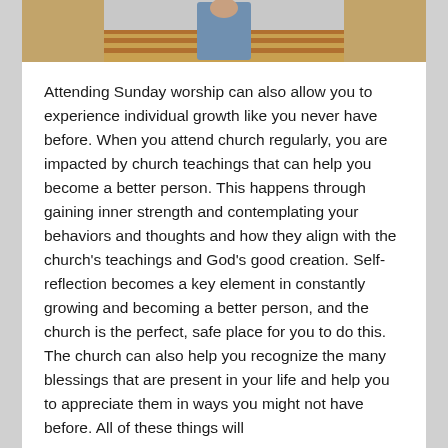[Figure (photo): A person seated in a church pew, wooden bench visible in background]
Attending Sunday worship can also allow you to experience individual growth like you never have before. When you attend church regularly, you are impacted by church teachings that can help you become a better person. This happens through gaining inner strength and contemplating your behaviors and thoughts and how they align with the church's teachings and God's good creation. Self-reflection becomes a key element in constantly growing and becoming a better person, and the church is the perfect, safe place for you to do this. The church can also help you recognize the many blessings that are present in your life and help you to appreciate them in ways you might not have before. All of these things will